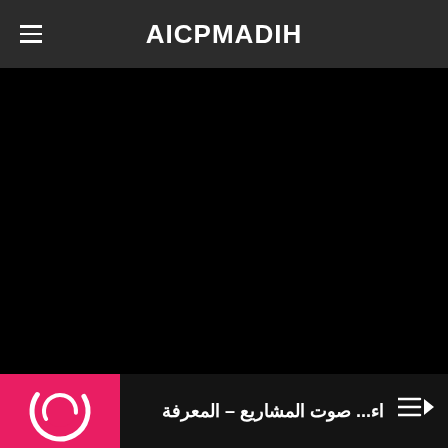AICPMADIH
[Figure (photo): Large black/dark image area, main content video or photo panel]
[Figure (logo): Pink square with circular white ring logo icon]
اء... صوت المشاريع – المعرفة